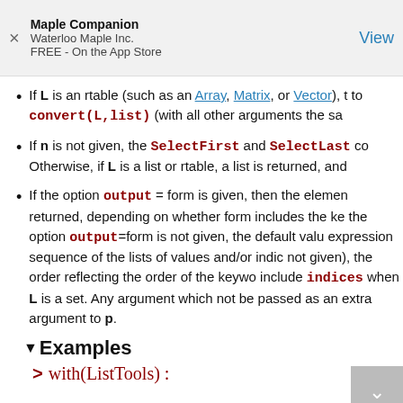Maple Companion
Waterloo Maple Inc.
FREE - On the App Store
View
If L is an rtable (such as an Array, Matrix, or Vector), t to convert(L,list) (with all other arguments the sa
If n is not given, the SelectFirst and SelectLast co Otherwise, if L is a list or rtable, a list is returned, and
If the option output = form is given, then the elemen returned, depending on whether form includes the ke the option output=form is not given, the default valu expression sequence of the lists of values and/or indic not given), the order reflecting the order of the keywo include indices when L is a set. Any argument which not be passed as an extra argument to p.
▼Examples
> with(ListTools) :